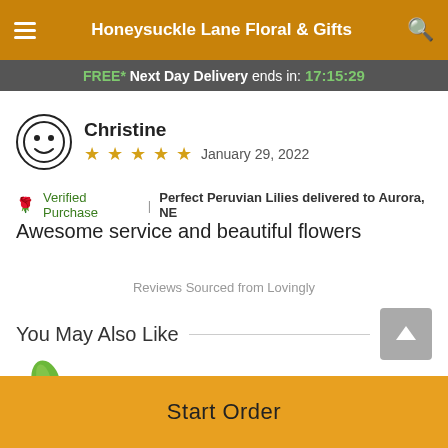Honeysuckle Lane Floral & Gifts
FREE* Next Day Delivery ends in: 17:15:29
Christine
★★★★★  January 29, 2022
🌹 Verified Purchase  |  Perfect Peruvian Lilies delivered to Aurora, NE
Awesome service and beautiful flowers
Reviews Sourced from Lovingly
You May Also Like
Start Order